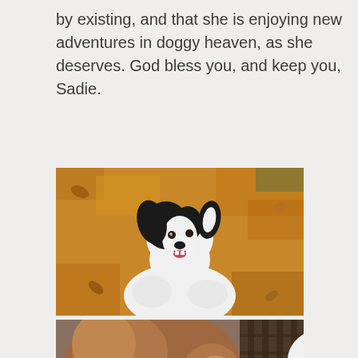by existing, and that she is enjoying new adventures in doggy heaven, as she deserves. God bless you, and keep you, Sadie.
[Figure (photo): A black and white Border Collie dog sitting among autumn leaves, looking upward with mouth open, photographed from above.]
[Figure (photo): Two dogs side by side — a small brown/rust-colored dog on the left and a black and white Border Collie on the right, with a wooden structure in the background.]